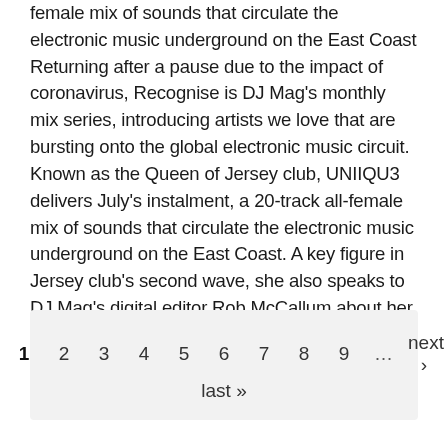female mix of sounds that circulate the electronic music underground on the East Coast Returning after a pause due to the impact of coronavirus, Recognise is DJ Mag's monthly mix series, introducing artists we love that are bursting onto the global electronic music circuit. Known as the Queen of Jersey club, UNIIQU3 delivers July's instalment, a 20-track all-female mix of sounds that circulate the electronic music underground on the East Coast. A key figure in Jersey club's second wave, she also speaks to DJ Mag's digital editor Rob McCallum about her rise in the scene, its influence on mainstream dance music, and building a future for her community
1  2  3  4  5  6  7  8  9  …  next ›  last »